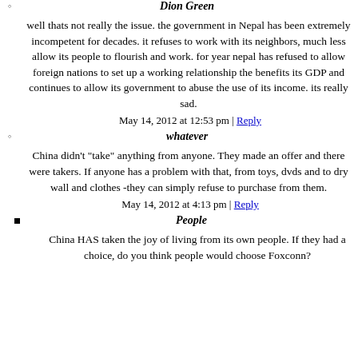Dion Green
well thats not really the issue. the government in Nepal has been extremely incompetent for decades. it refuses to work with its neighbors, much less allow its people to flourish and work. for year nepal has refused to allow foreign nations to set up a working relationship the benefits its GDP and continues to allow its government to abuse the use of its income. its really sad.
May 14, 2012 at 12:53 pm | Reply
whatever
China didn't "take" anything from anyone. They made an offer and there were takers. If anyone has a problem with that, from toys, dvds and to dry wall and clothes -they can simply refuse to purchase from them.
May 14, 2012 at 4:13 pm | Reply
People
China HAS taken the joy of living from its own people. If they had a choice, do you think people would choose Foxconn?